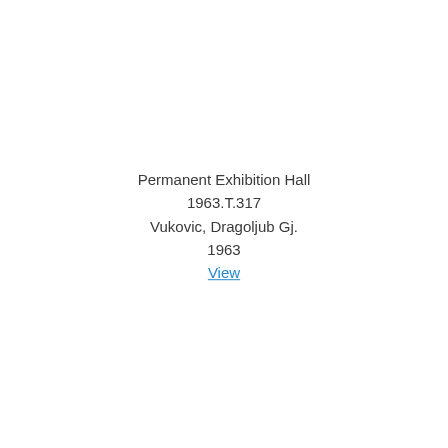Permanent Exhibition Hall
1963.T.317
Vukovic, Dragoljub Gj.
1963
View